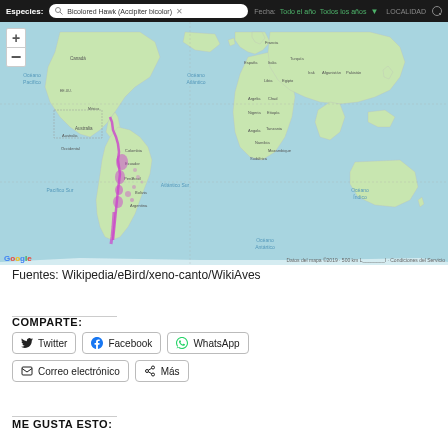[Figure (map): eBird world map showing observations of Bicolored Hawk (Accipiter bicolor), with sightings concentrated along western South America and parts of Central America. Map interface with search bar showing species name, date filters (Todo el año, Todos los años), and LOCALIDAD option.]
Fuentes: Wikipedia/eBird/xeno-canto/WikiAves
COMPARTE:
Twitter
Facebook
WhatsApp
Correo electrónico
Más
ME GUSTA ESTO: